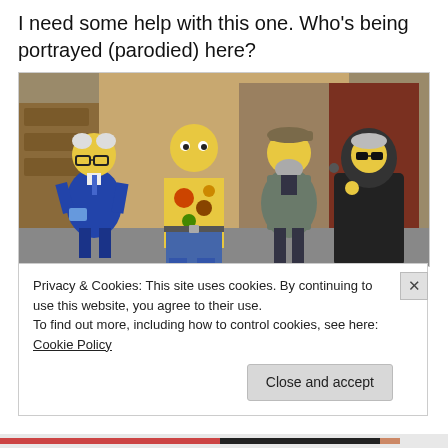I need some help with this one. Who's being portrayed (parodied) here?
[Figure (illustration): Simpsons-style cartoon illustration of four characters standing together: an older man in a blue suit with glasses and white hair, a bald tattooed shirtless man in jeans, an older bearded man in a grey jacket and cap, and a figure in a black hooded robe wearing sunglasses.]
Privacy & Cookies: This site uses cookies. By continuing to use this website, you agree to their use.
To find out more, including how to control cookies, see here: Cookie Policy
Close and accept